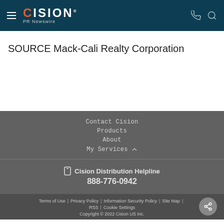CISION PR Newswire
SOURCE Mack-Cali Realty Corporation
Contact Cision
Products
About
My Services
Cision Distribution Helpline 888-776-0942
Terms of Use | Privacy Policy | Information Security Policy | Site Map | RSS | Cookie Settings
Copyright © 2022 Cision US Inc.